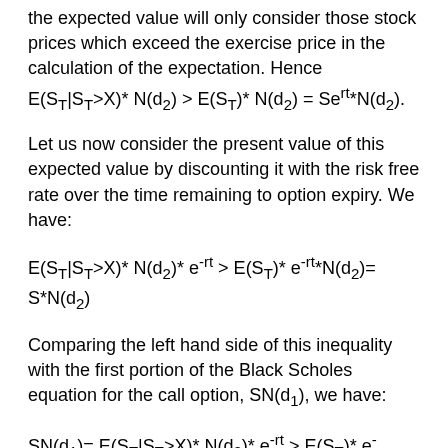the expected value will only consider those stock prices which exceed the exercise price in the calculation of the expectation. Hence E(S_T|S_T>X)* N(d2) > E(S_T)* N(d2) = Se^(rt)*N(d2).
Let us now consider the present value of this expected value by discounting it with the risk free rate over the time remaining to option expiry. We have:
Comparing the left hand side of this inequality with the first portion of the Black Scholes equation for the call option, SN(d1), we have: